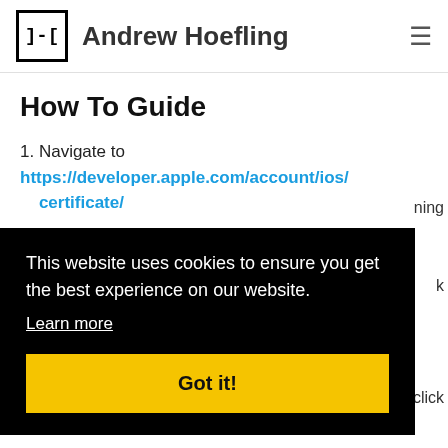Andrew Hoefling
How To Guide
1. Navigate to https://developer.apple.com/account/ios/certificate/
This website uses cookies to ensure you get the best experience on our website. Learn more
Got it!
continue